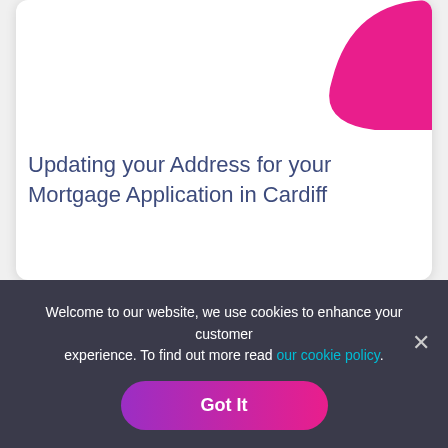[Figure (illustration): White card with pink decorative arc in top-right corner]
Updating your Address for your Mortgage Application in Cardiff
[Figure (infographic): Pagination dots: 10 dots, 4th dot is dark purple (active), others are light purple]
Welcome to our website, we use cookies to enhance your customer experience. To find out more read our cookie policy.